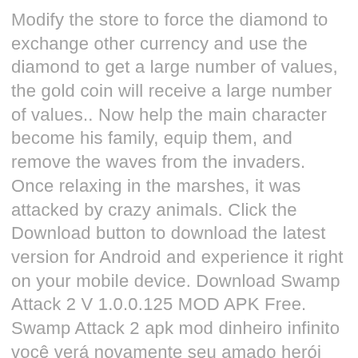Modify the store to force the diamond to exchange other currency and use the diamond to get a large number of values, the gold coin will receive a large number of values.. Now help the main character become his family, equip them, and remove the waves from the invaders. Once relaxing in the marshes, it was attacked by crazy animals. Click the Download button to download the latest version for Android and experience it right on your mobile device. Download Swamp Attack 2 V 1.0.0.125 MOD APK Free. Swamp Attack 2 apk mod dinheiro infinito você verá novamente seu amado herói chamado Joe, que se mudou para morar mais longe da cidade e agora mora em uma pequena casa no lago. syarat: 5.0 jeung up. Players who like shooting games, gun games, archery games, monster games, tower defense games, racing games, funny games and crazy characters will enjoy this game, too! Turned into zombies or monsters, but one thing is